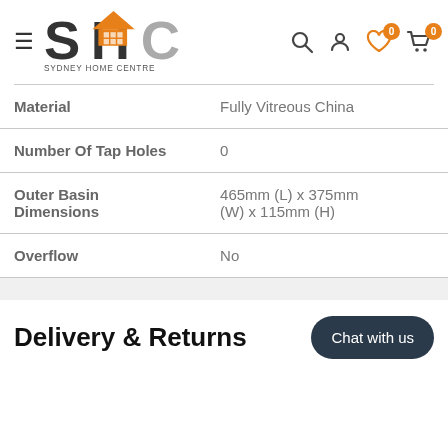Sydney Home Centre — navigation header with logo and icons
| Property | Value |
| --- | --- |
| Material | Fully Vitreous China |
| Number Of Tap Holes | 0 |
| Outer Basin Dimensions | 465mm (L) x 375mm (W) x 115mm (H) |
| Overflow | No |
Delivery & Returns